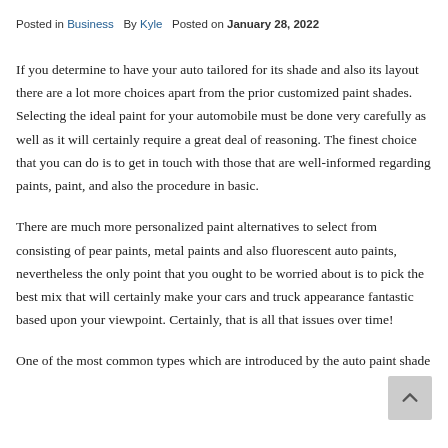Posted in Business   By Kyle   Posted on January 28, 2022
If you determine to have your auto tailored for its shade and also its layout there are a lot more choices apart from the prior customized paint shades. Selecting the ideal paint for your automobile must be done very carefully as well as it will certainly require a great deal of reasoning. The finest choice that you can do is to get in touch with those that are well-informed regarding paints, paint, and also the procedure in basic.
There are much more personalized paint alternatives to select from consisting of pear paints, metal paints and also fluorescent auto paints, nevertheless the only point that you ought to be worried about is to pick the best mix that will certainly make your cars and truck appearance fantastic based upon your viewpoint. Certainly, that is all that issues over time!
One of the most common types which are introduced by the auto paint shade...